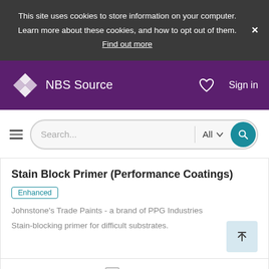This site uses cookies to store information on your computer. Learn more about these cookies, and how to opt out of them. Find out more
NBS Source  Sign in
Search...  All
Stain Block Primer (Performance Coatings)
Enhanced
Johnstone's Trade Paints - a brand of PPG Industries
Stain-blocking primer for difficult substrates.
Compare